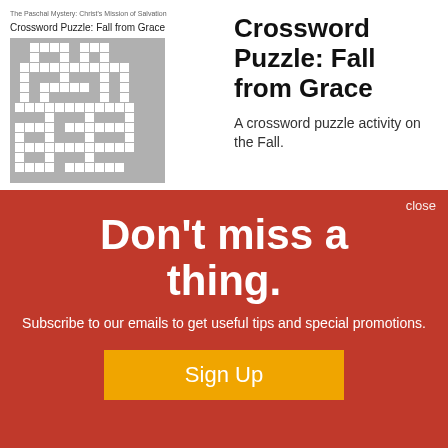[Figure (screenshot): Preview of crossword puzzle worksheet titled 'Crossword Puzzle: Fall from Grace' with a crossword grid shown]
Crossword Puzzle: Fall from Grace
A crossword puzzle activity on the Fall.
close
Don't miss a thing.
Subscribe to our emails to get useful tips and special promotions.
Sign Up